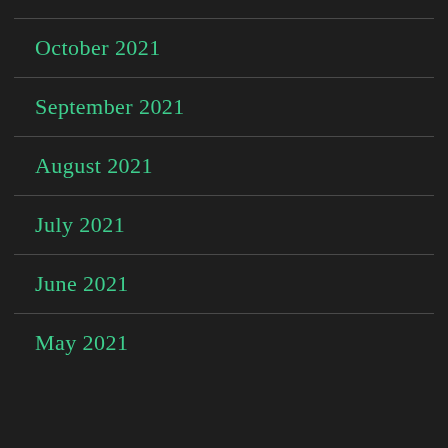October 2021
September 2021
August 2021
July 2021
June 2021
May 2021